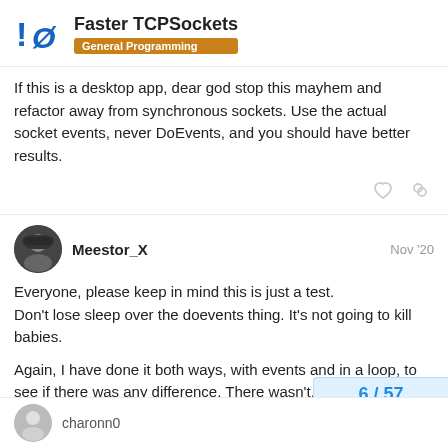Faster TCPSockets — General Programming
If this is a desktop app, dear god stop this mayhem and refactor away from synchronous sockets. Use the actual socket events, never DoEvents, and you should have better results.
Meestor_X   Nov '20
Everyone, please keep in mind this is just a test.
Don't lose sleep over the doevents thing. It's not going to kill babies.

Again, I have done it both ways, with events and in a loop, to see if there was any difference. There wasn't.
6 / 57
charonn0